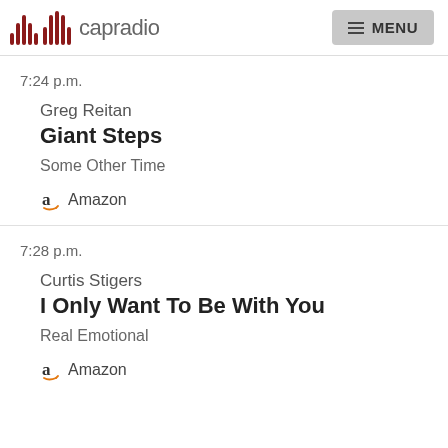capradio | MENU
7:24 p.m.
Greg Reitan
Giant Steps
Some Other Time
Amazon
7:28 p.m.
Curtis Stigers
I Only Want To Be With You
Real Emotional
Amazon